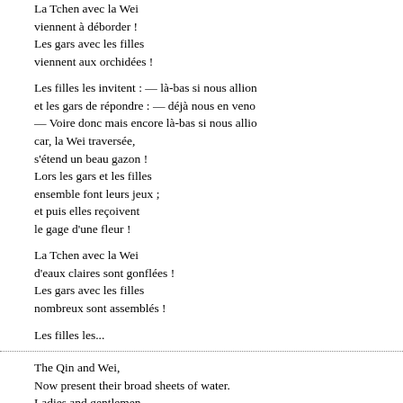La Tchen avec la Wei
viennent à déborder !
Les gars avec les filles
viennent aux orchidées !
Les filles les invitent : — là-bas si nous allions
et les gars de répondre : — déjà nous en venons.
— Voire donc mais encore là-bas si nous allions,
car, la Wei traversée,
s'étend un beau gazon !
Lors les gars et les filles
ensemble font leurs jeux ;
et puis elles reçoivent
le gage d'une fleur !
La Tchen avec la Wei
d'eaux claires sont gonflées !
Les gars avec les filles
ombreux sont assemblés !
Les filles les...
The Qin and Wei,
Now present their broad sheets of water.
Ladies and gentlemen,
Are carrying flowers of valerian.